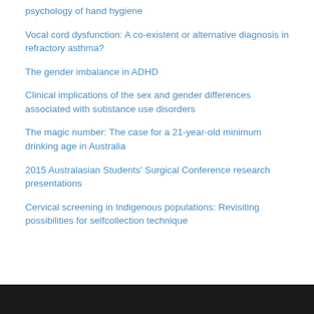psychology of hand hygiene
Vocal cord dysfunction: A co-existent or alternative diagnosis in refractory asthma?
The gender imbalance in ADHD
Clinical implications of the sex and gender differences associated with substance use disorders
The magic number: The case for a 21-year-old minimum drinking age in Australia
2015 Australasian Students' Surgical Conference research presentations
Cervical screening in Indigenous populations: Revisiting possibilities for selfcollection technique